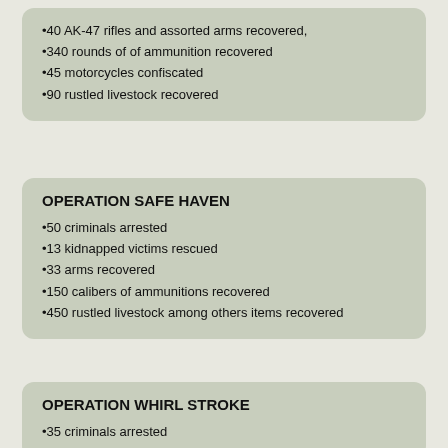•40 AK-47 rifles and assorted arms recovered,
•340 rounds of of ammunition recovered
•45 motorcycles confiscated
•90 rustled livestock recovered
OPERATION SAFE HAVEN
•50 criminals arrested
•13 kidnapped victims rescued
•33 arms recovered
•150 calibers of ammunitions recovered
•450 rustled livestock among others items recovered
OPERATION WHIRL STROKE
•35 criminals arrested